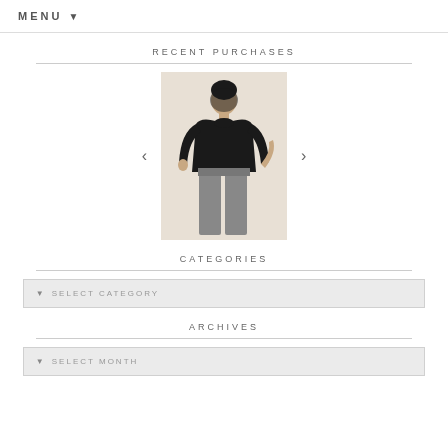MENU ▼
RECENT PURCHASES
[Figure (photo): A woman wearing a black long-sleeve blouse and grey trousers, posed against a light beige background.]
CATEGORIES
▼ SELECT CATEGORY
ARCHIVES
▼ SELECT MONTH